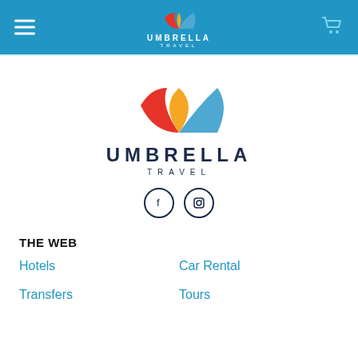Umbrella Travel — navigation header with hamburger menu and cart icon
[Figure (logo): Umbrella Travel logo — colorful umbrella (red, yellow, blue segments) with text UMBRELLA TRAVEL below, centered on white background]
THE WEB
Hotels
Car Rental
Transfers
Tours